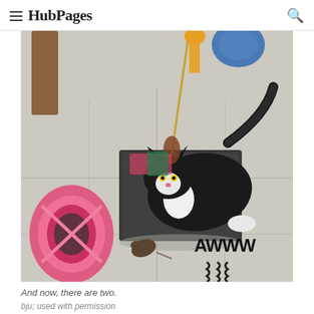HubPages
[Figure (photo): A black and white cat sitting inside a dark box on a tiled floor, surrounded by cat toys including a pink tunnel, feather toys, and a spring toy. The floor is light-colored tile.]
And now, there are two.
bju; used with permission